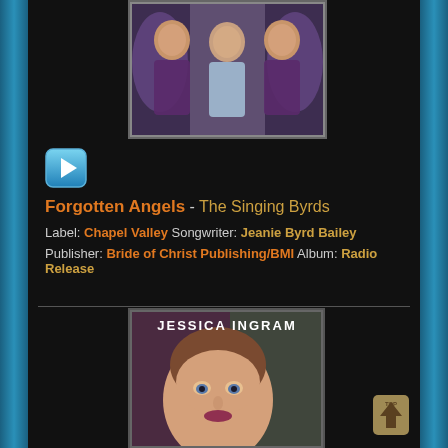[Figure (photo): Three people (two women and a man) seated together, women wearing purple/floral outfits, man in light blue shirt, decorative background]
[Figure (other): Blue play button icon]
Forgotten Angels - The Singing Byrds
Label: Chapel Valley Songwriter: Jeanie Byrd Bailey
Publisher: Bride of Christ Publishing/BMI  Album: Radio Release
[Figure (photo): Album cover for Jessica Ingram showing a woman with short hair looking upward, text JESSICA INGRAM at top]